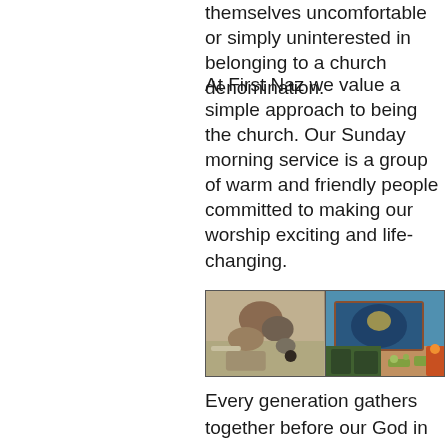themselves uncomfortable or simply uninterested in belonging to a church denomination.
At First Naz we value a simple approach to being the church. Our Sunday morning service is a group of warm and friendly people committed to making our worship exciting and life-changing.
[Figure (photo): Two photos side by side: left shows an adult and child lying on the floor looking at something together; right shows a children's room with an aquarium mural on the wall and child-sized furniture.]
Every generation gathers together before our God in worship.  We desire to sense and